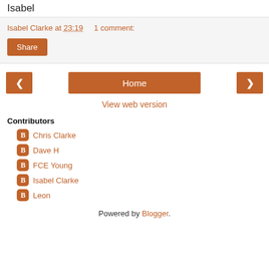Isabel
Isabel Clarke at 23:19    1 comment:
Share
< Home >
View web version
Contributors
Chris Clarke
Dave H
FCE Young
Isabel Clarke
Leon
Powered by Blogger.